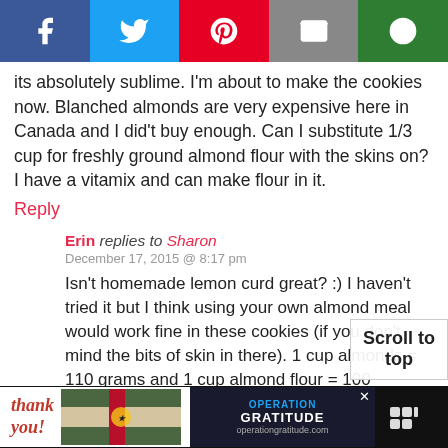[Figure (other): Social media share bar with Facebook, Twitter, Pinterest, Email, and another share button]
its absolutely sublime. I’m about to make the cookies now. Blanched almonds are very expensive here in Canada and I did’t buy enough. Can I substitute 1/3 cup for freshly ground almond flour with the skins on? I have a vitamix and can make flour in it.
Reply
Erin replies to Sharon
December 17, 2015 @ 8:17 pm
Isn’t homemade lemon curd great? :) I haven’t tried it but I think using your own almond meal would work fine in these cookies (if you don’t mind the bits of skin in there). 1 cup almonds = 110 grams and 1 cup almond flour = 100
[Figure (screenshot): Scroll to top overlay button showing 'Scroll to top']
[Figure (other): Advertisement bar at bottom with Thank You military-themed ad and Operation Gratitude logo]